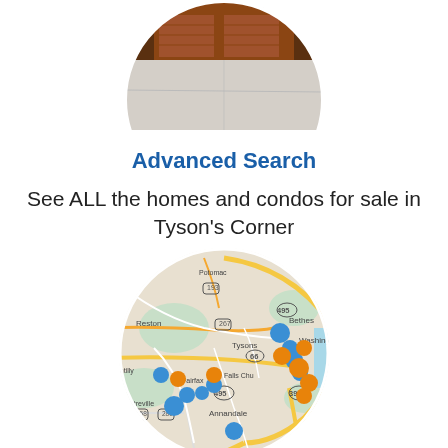[Figure (photo): Circular cropped photo of a driveway/garage area of a residential home, partially visible at top of page]
Advanced Search
See ALL the homes and condos for sale in Tyson's Corner
[Figure (map): Circular cropped map showing the Northern Virginia/DC metro area including Tysons Corner, Reston, Chantilly, Fairfax, Annandale, Falls Church, Alexandria, Washington, and Bethesda. Map has orange and blue circular markers indicating home listings.]